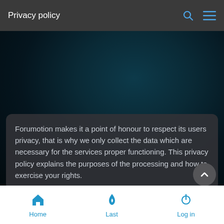Privacy policy
Forumotion makes it a point of honour to respect its users privacy, that is why we only collect the data which are necessary for the services proper functioning. This privacy policy explains the purposes of the processing and how to exercise your rights.
Home  Last  Log in